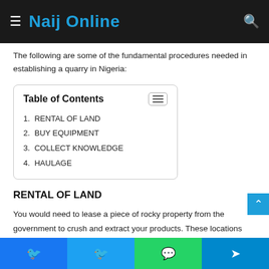Naij Online
The following are some of the fundamental procedures needed in establishing a quarry in Nigeria:
| Table of Contents |
| --- |
| 1. RENTAL OF LAND |
| 2. BUY EQUIPMENT |
| 3. COLLECT KNOWLEDGE |
| 4. HAULAGE |
RENTAL OF LAND
You would need to lease a piece of rocky property from the government to crush and extract your products. These locations are often rented for between one and five years,
Facebook Twitter WhatsApp Telegram